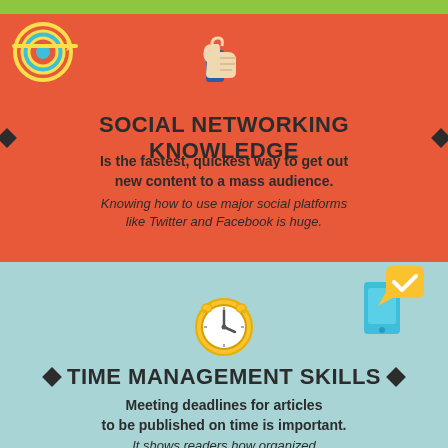[Figure (infographic): Thumbs up icon in blue and beige on orange background]
SOCIAL NETWORKING KNOWLEDGE
Is the fastest, quickest way to get out new content to a mass audience. Knowing how to use major social platforms like Twitter and Facebook is huge.
[Figure (infographic): Smartphone with yellow checkmark message bubble icon, and clock/alarm icon on teal background]
TIME MANAGEMENT SKILLS
Meeting deadlines for articles to be published on time is important. It shows readers how organized